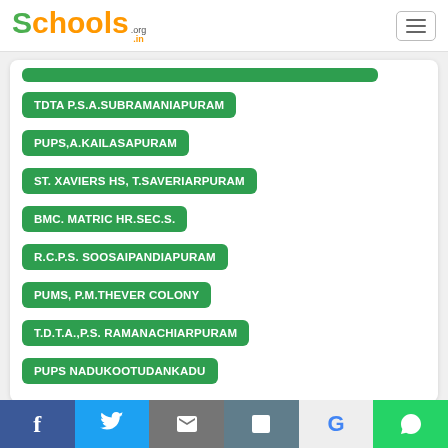Schools.org.in
TDTA P.S.A.SUBRAMANIAPURAM
PUPS,A.KAILASAPURAM
ST. XAVIERS HS, T.SAVERIARPURAM
BMC. MATRIC HR.SEC.S.
R.C.P.S. SOOSAIPANDIAPURAM
PUMS, P.M.THEVER COLONY
T.D.T.A.,P.S. RAMANACHIARPURAM
PUPS NADUKOOTUDANKADU
Share to get Ratings :
f  t  [email]  [print]  G  [whatsapp]